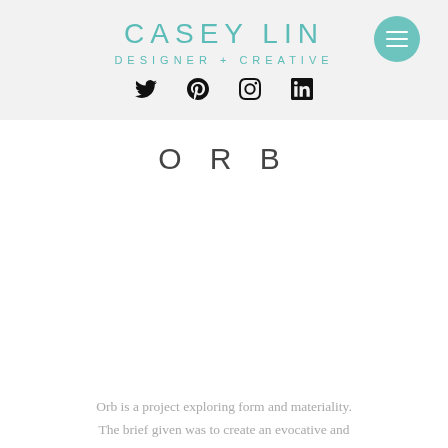CASEY LIN
DESIGNER + CREATIVE
[Figure (infographic): Social media icons: Twitter bird, Pinterest P, Instagram camera, LinkedIn 'in']
ORB
Orb is a project exploring form and materiality. The brief given was to create an evocative and